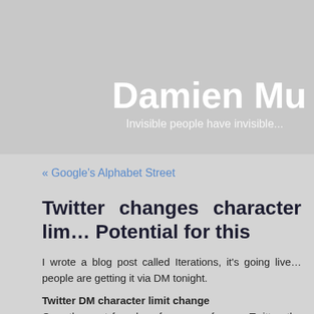Damien Mu
Invisible people have invisible…
« Google's Alphabet Street
Twitter changes character lim… Potential for this
I wrote a blog post called Iterations, it's going live… people are getting it via DM tonight.
Twitter DM character limit change
Over the past few days for many of us on Twitter, the (private messages) has been replaced with a 10,0… about 1500 to 1000… and… A couple I should add…